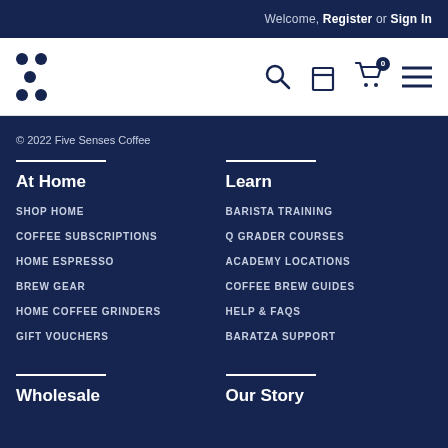Welcome, Register or Sign In
[Figure (logo): Five Senses Coffee logo made of five dots arranged in a quincunx pattern]
[Figure (screenshot): Navigation icons: search magnifying glass, bag/product icon, shopping cart with badge showing 0, and hamburger menu]
© 2022 Five Senses Coffee
At Home
SHOP HOME
COFFEE SUBSCRIPTIONS
HOME ESPRESSO
BREW GEAR
HOME COFFEE GRINDERS
GIFT VOUCHERS
Learn
BARISTA TRAINING
Q GRADER COURSES
ACADEMY LOCATIONS
COFFEE BREW GUIDES
HELP & FAQS
BARATZA SUPPORT
Wholesale
Our Story